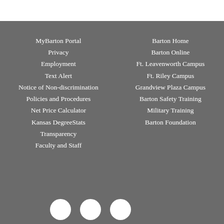MyBarton Portal
Privacy
Employment
Text Alert
Notice of Non-discrimination
Policies and Procedures
Net Price Calculator
Kansas DegreeStats
Transparency
Faculty and Staff
Barton Home
Barton Online
Ft. Leavenworth Campus
Ft. Riley Campus
Grandview Plaza Campus
Barton Safety Training
Military Training
Barton Foundation
[Figure (illustration): Three circular social media icons (Facebook, Twitter/X, another) at the bottom left of the footer]